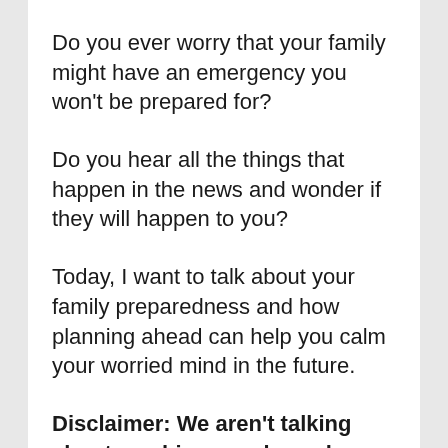Do you ever worry that your family might have an emergency you won't be prepared for?
Do you hear all the things that happen in the news and wonder if they will happen to you?
Today, I want to talk about your family preparedness and how planning ahead can help you calm your worried mind in the future.
Disclaimer: We aren't talking about zombie apocalypse here. This is not a post about extreme prepping. These are simple, actionable tips you can take for a